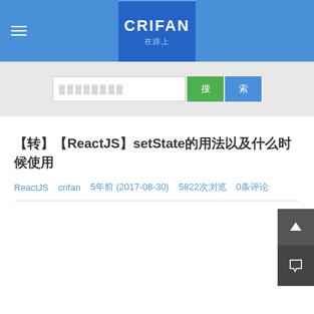CRIFAN 在路上
搜索框
【转】【ReactJS】setState的用法以及什么时候使用
ReactJS   crifan   5年前 (2017-08-30)   5822次浏览   0条评论